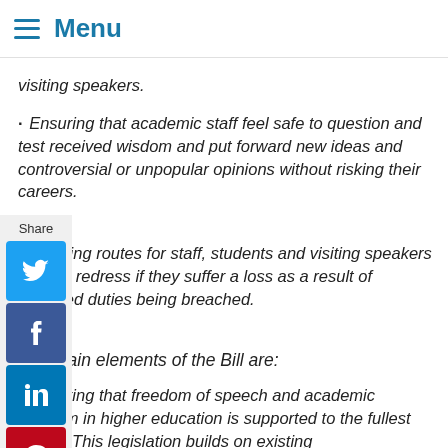≡ Menu
visiting speakers.
· Ensuring that academic staff feel safe to question and test received wisdom and put forward new ideas and controversial or unpopular opinions without risking their careers.
· Creating routes for staff, students and visiting speakers to seek redress if they suffer a loss as a result of specified duties being breached.
The main elements of the Bill are:
· Ensuring that freedom of speech and academic freedom in higher education is supported to the fullest extent. This legislation builds on existing